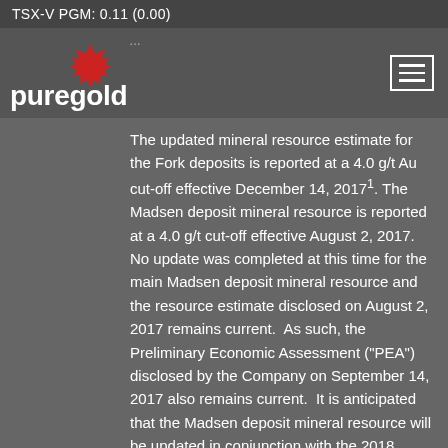TSX-V PGM: 0.11 (0.00)
The updated mineral resource estimate for the Fork deposits is reported at a 4.0 g/t Au cut-off effective December 14, 2017¹. The Madsen deposit mineral resource is reported at a 4.0 g/t cut-off effective August 2, 2017. No update was completed at this time for the main Madsen deposit mineral resource and the resource estimate disclosed on August 2, 2017 remains current. As such, the Preliminary Economic Assessment (“PEA”) disclosed by the Company on September 14, 2017 also remains current. It is anticipated that the Madsen deposit mineral resource will be updated in conjunction with the 2018 Madsen Feasibility Study. To date, approximately 43,000 metres from 93 drill holes have been drilled to test and infill certain areas in the Madsen mine resource since the April 11, 2017 data cut-off.